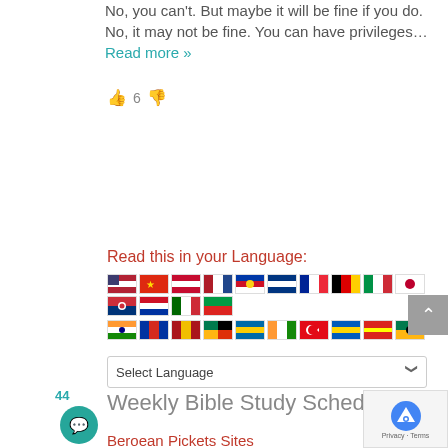No, you can't. But maybe it will be fine if you do. No, it may not be fine. You can have privileges... Read more »
👍 6 👎
Read this in your Language:
[Figure (infographic): A grid of country flags for language selection, followed by a 'Select Language' dropdown.]
44
Weekly Bible Study Schedule
Beroean Pickets Sites